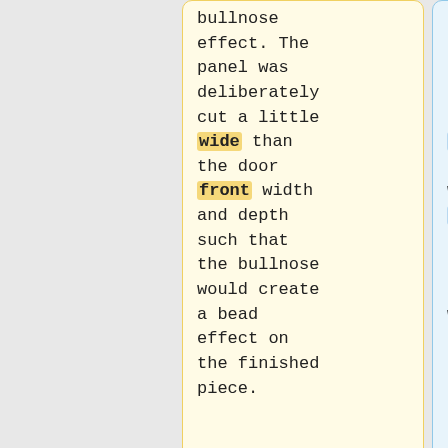bullnose effect. The panel was deliberately cut a little wide than the door front width and depth such that the bullnose would create a bead effect on the finished piece.
bullnose effect. The panel was deliberately cut a little wider than the door width and cabinet depth such that the bullnose would create a bead effect on the finished piece.
The was fixed to the
The was fixed to the